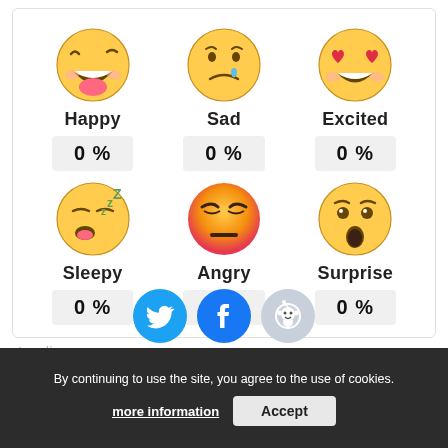[Figure (infographic): Emotion detection UI showing 6 emoji icons (Happy, Sad, Excited, Sleepy, Angry, Surprise) each with a 0% label below them in a 3-column grid layout inside a card]
[Figure (infographic): Social sharing buttons: Twitter (blue bird), Facebook (blue f), Reddit (gray alien)]
Loading...
By continuing to use the site, you agree to the use of cookies.
more information
Accept